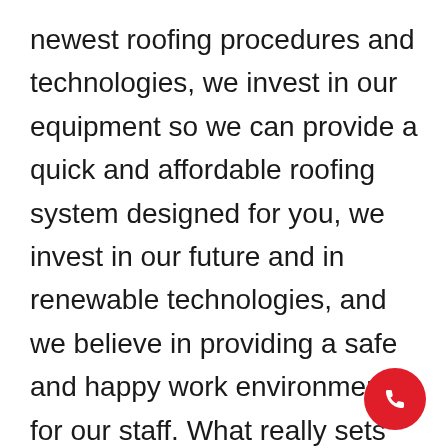newest roofing procedures and technologies, we invest in our equipment so we can provide a quick and affordable roofing system designed for you, we invest in our future and in renewable technologies, and we believe in providing a safe and happy work environment for our staff. What really sets us apart is our strong desire to provide our customers with a high quality roofing system and experience like no other. We take pride in our craft, our team and our quality of workmanship.
[Figure (other): Red circular button with white phone/handset icon in the bottom-right corner]